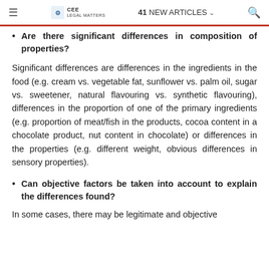≡  CEE LEGAL MATTERS  |  41 NEW ARTICLES  🔍
Are there significant differences in composition of properties?
Significant differences are differences in the ingredients in the food (e.g. cream vs. vegetable fat, sunflower vs. palm oil, sugar vs. sweetener, natural flavouring vs. synthetic flavouring), differences in the proportion of one of the primary ingredients (e.g. proportion of meat/fish in the products, cocoa content in a chocolate product, nut content in chocolate) or differences in the properties (e.g. different weight, obvious differences in sensory properties).
Can objective factors be taken into account to explain the differences found?
In some cases, there may be legitimate and objective